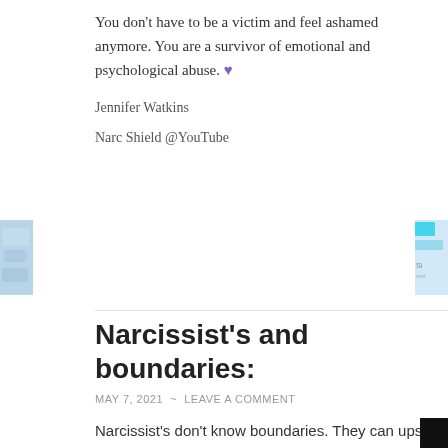You don't have to be a victim and feel ashamed anymore. You are a survivor of emotional and psychological abuse. 💜
Jennifer Watkins
Narc Shield @YouTube
[Figure (photo): Partial thumbnail images on left and right edges of the page]
Narcissist's and boundaries:
MAY 7, 2021  ~  LEAVE A COMMENT
Narcissist's don't know boundaries. They can upset people with giving their opinion or advice when nobody asks. This is crossing personal boundaries but a...